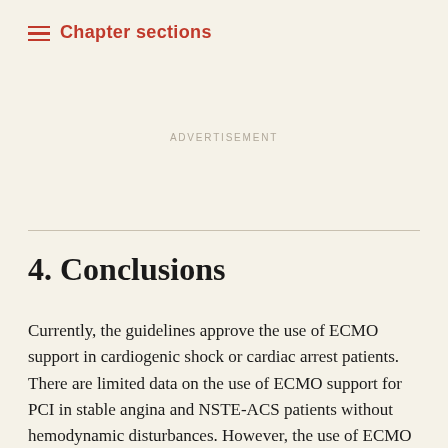Chapter sections
Advertisement
4. Conclusions
Currently, the guidelines approve the use of ECMO support in cardiogenic shock or cardiac arrest patients. There are limited data on the use of ECMO support for PCI in stable angina and NSTE-ACS patients without hemodynamic disturbances. However, the use of ECMO for PCI support has a theoretical and practical rationale and showed encouraging results in our single-center observation. Our single-center experience